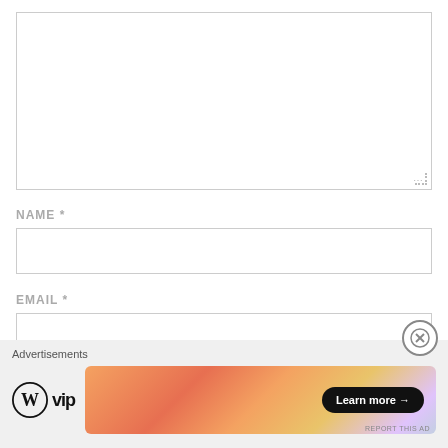[Figure (screenshot): Empty textarea/comment input box with resize handle indicator at bottom right]
NAME *
[Figure (screenshot): Empty text input field for Name]
EMAIL *
[Figure (screenshot): Empty text input field for Email, partially visible with close (X) button overlay]
Advertisements
[Figure (logo): WordPress VIP logo - circle W icon with 'vip' text]
[Figure (infographic): Advertisement banner with gradient orange/pink/purple background and 'Learn more →' button]